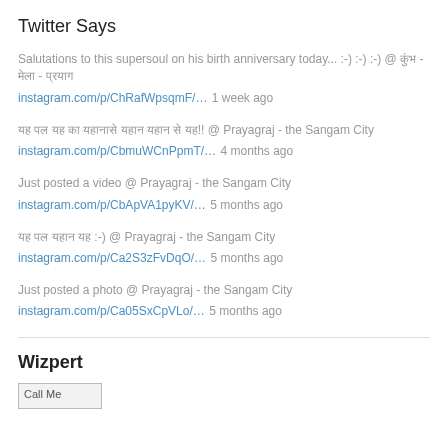Twitter Says
Salutations to this supersoul on his birth anniversary today... :-) :-) :-) @ कुंंभं - मेला - प्रयाग
instagram.com/p/ChRafWpsqmF/… 1 week ago
यह पल यह का यहानासे यहान यहान से यह!! @ Prayagraj - the Sangam City
instagram.com/p/CbmuWCnPpmT/… 4 months ago
Just posted a video @ Prayagraj - the Sangam City
instagram.com/p/CbApVA1pyKV/… 5 months ago
यह पल यहान यह :-) @ Prayagraj - the Sangam City
instagram.com/p/Ca2S3zFvDqO/… 5 months ago
Just posted a photo @ Prayagraj - the Sangam City
instagram.com/p/Ca05SxCpVLo/… 5 months ago
Wizpert
[Figure (other): Call Me button/image]